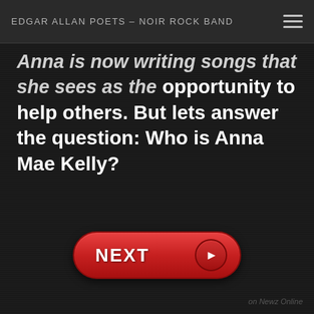EDGAR ALLAN POETS – NOIR ROCK BAND
Anna is now writing songs that she sees as the opportunity to help others. But lets answer the question: Who is Anna Mae Kelly?
[Figure (other): A red pill-shaped NEXT button with an arrow circle on the right side]
on Newz Online